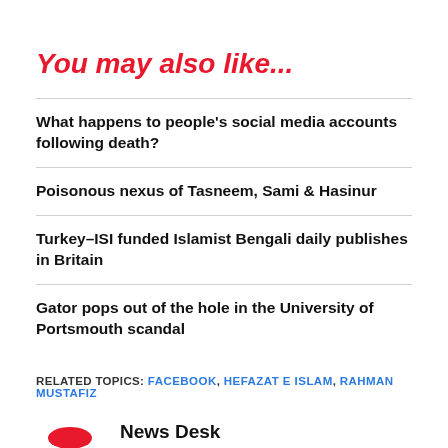You may also like...
What happens to people's social media accounts following death?
Poisonous nexus of Tasneem, Sami & Hasinur
Turkey–ISI funded Islamist Bengali daily publishes in Britain
Gator pops out of the hole in the University of Portsmouth scandal
RELATED TOPICS: FACEBOOK, HEFAZAT E ISLAM, RAHMAN MUSTAFIZ
News Desk
Content published under this byline are the...